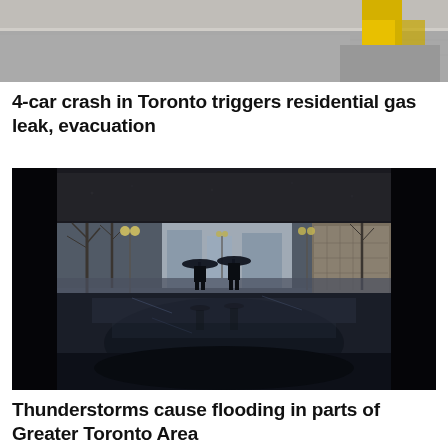[Figure (photo): Top portion of a street scene photo, showing a road and a person in high-visibility yellow jacket visible at top right, legs and feet visible on pavement.]
4-car crash in Toronto triggers residential gas leak, evacuation
[Figure (photo): Rainy urban scene viewed from under a bridge/underpass. Two silhouetted figures walk with umbrellas on a wet reflective plaza. Bare trees, city buildings and street lamps visible in the background. Dark, moody atmosphere with puddles reflecting light.]
Thunderstorms cause flooding in parts of Greater Toronto Area